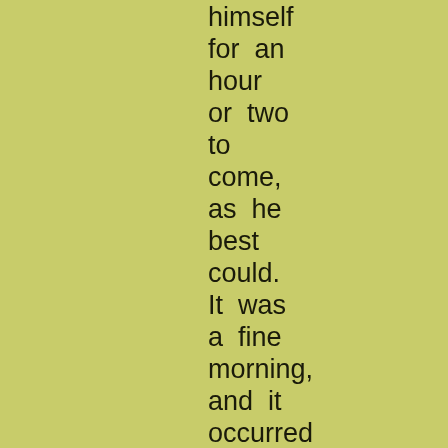himself for an hour or two to come, as he best could. It was a fine morning, and it occurred to Sam that a pint of porter